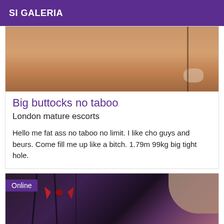SI GALERIA
[Figure (photo): Close-up photo of skin tones, warm beige and brown hues]
Big buttocks no taboo
London mature escorts
Hello me fat ass no taboo no limit. I like cho guys and beurs. Come fill me up like a bitch. 1.79m 99kg big tight hole.
[Figure (photo): Photo of dark lingerie with a red bow tie accent, dark purple and black tones with light area top right, Online badge overlay]